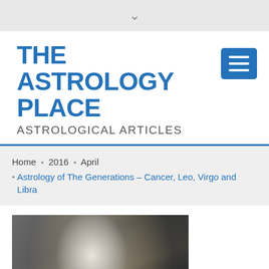▾
THE ASTROLOGY PLACE
ASTROLOGICAL ARTICLES
Home › 2016 › April › Astrology of The Generations – Cancer, Leo, Virgo and Libra
[Figure (photo): Black and white photograph of a blonde woman resting her chin on her hand, looking contemplative]